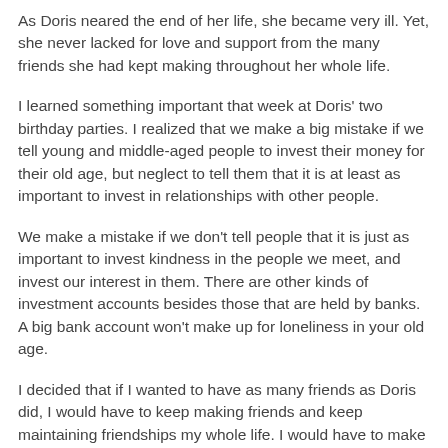As Doris neared the end of her life, she became very ill. Yet, she never lacked for love and support from the many friends she had kept making throughout her whole life.
I learned something important that week at Doris' two birthday parties. I realized that we make a big mistake if we tell young and middle-aged people to invest their money for their old age, but neglect to tell them that it is at least as important to invest in relationships with other people.
We make a mistake if we don't tell people that it is just as important to invest kindness in the people we meet, and invest our interest in them. There are other kinds of investment accounts besides those that are held by banks. A big bank account won't make up for loneliness in your old age.
I decided that if I wanted to have as many friends as Doris did, I would have to keep making friends and keep maintaining friendships my whole life. I would have to make friends with